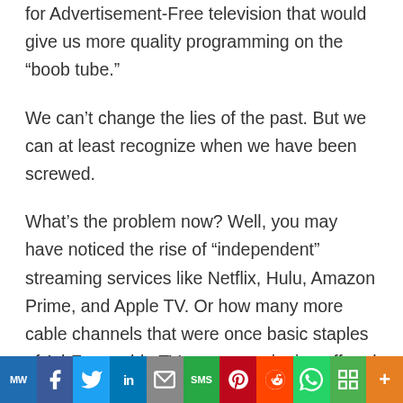for Advertisement-Free television that would give us more quality programming on the “boob tube.”
We can’t change the lies of the past. But we can at least recognize when we have been screwed.
What’s the problem now? Well, you may have noticed the rise of “independent” streaming services like Netflix, Hulu, Amazon Prime, and Apple TV. Or how many more cable channels that were once basic staples of Ad-Free cable TV are now spinning off and charging addition…